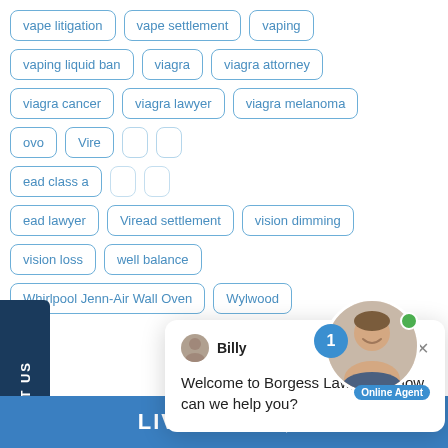vape litigation
vape settlement
vaping
vaping liquid ban
viagra
viagra attorney
viagra cancer
viagra lawyer
viagra melanoma
ovo
Vire
ead class a
ead lawyer
Viread settlement
vision dimming
vision loss
well balance
Whirlpool Jenn-Air Wall Oven
Wylwood
[Figure (screenshot): Chat popup with agent Billy: Welcome to Borgess Law, LLC! How can we help you? Online Agent badge and notification badge visible.]
TEXT US
LIVE CHAT